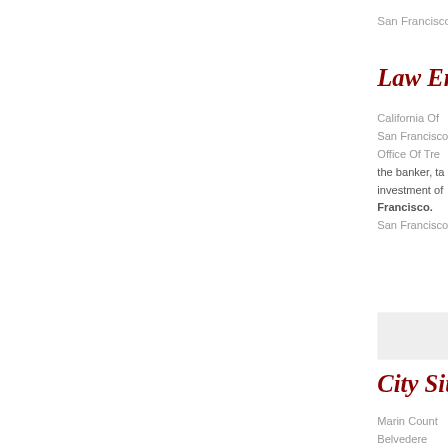San Francisco
Law Enfo
California Of
San Francisco
Office Of Tre
the banker, ta
investment of
Francisco.
San Francisco
[Figure (other): Gray shaded box/sidebar element]
City Sites
Marin Count
Belvedere